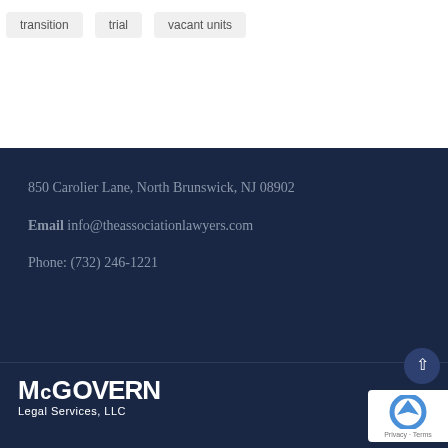transition
trial
vacant units
850 Carolier Lane, North Brunswick, NJ 08902
Email info@theassociationlawyers.com
Phone: (732) 246-1221
[Figure (logo): McGovern Legal Services, LLC logo in white text on dark navy background]
[Figure (other): reCAPTCHA badge with Privacy and Terms links]